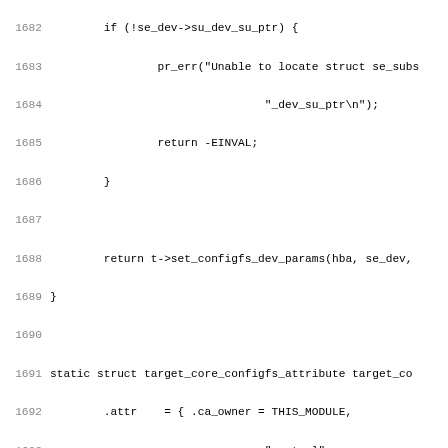[Figure (screenshot): Source code listing in C, lines 1682-1714, showing kernel/driver code for target_core configfs device control and alias functions]